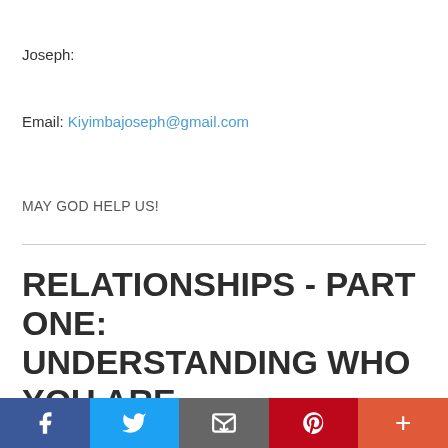Joseph:
Email: Kiyimbajoseph@gmail.com
MAY GOD HELP US!
RELATIONSHIPS - PART ONE: UNDERSTANDING WHO YOU ARE
Most of us have learned that the Bible teaches us mainly about
Social share bar: Facebook, Twitter, Email, Pinterest, More